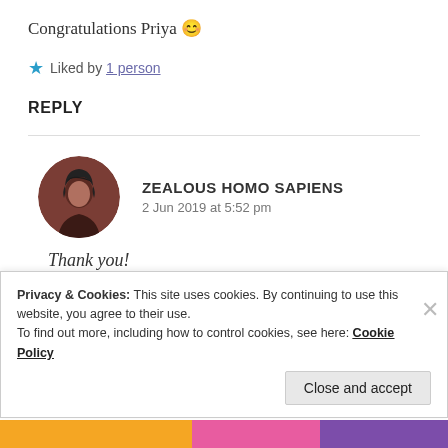Congratulations Priya 😊
★ Liked by 1 person
REPLY
ZEALOUS HOMO SAPIENS
2 Jun 2019 at 5:52 pm
Thank you!
Privacy & Cookies: This site uses cookies. By continuing to use this website, you agree to their use.
To find out more, including how to control cookies, see here: Cookie Policy
Close and accept